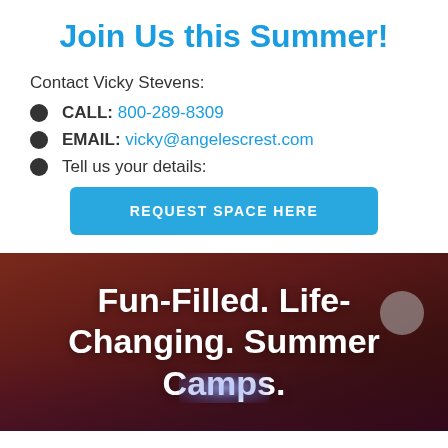Join Us this Summer!
Contact Vicky Stevens:
CALL: 800-289-8309
EMAIL: vicky@angelescrest.com
Tell us your details:
REQUEST SPACE HERE
[Figure (photo): Photograph of a camp setting with a dark reddish-brown background showing a lit surface. Overlaid text reads: Fun-Filled. Life-Changing. Summer Camps.]